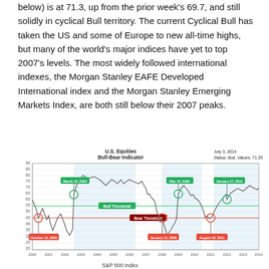below) is at 71.3, up from the prior week's 69.7, and still solidly in cyclical Bull territory. The current Cyclical Bull has taken the US and some of Europe to new all-time highs, but many of the world's major indices have yet to top 2007's levels. The most widely followed international indexes, the Morgan Stanley EAFE Developed International index and the Morgan Stanley Emerging Markets Index, are both still below their 2007 peaks.
[Figure (continuous-plot): Line chart showing U.S. Equities Bull-Bear Indicator from 2000 to 2014. Shows Bull and Bear threshold lines. Key dates labeled: October 13, 2000 (bear low ~46), March 19, 2003 (bull signal ~65), January 11, 2008 (bear signal ~45), May 15, 2009 (bull signal ~67), August 18, 2011 (bear signal ~43), January 27, 2012 (bull signal ~54). Current value July 3, 2014: Status Bull, Value 71.35.]
S&P 500 Index